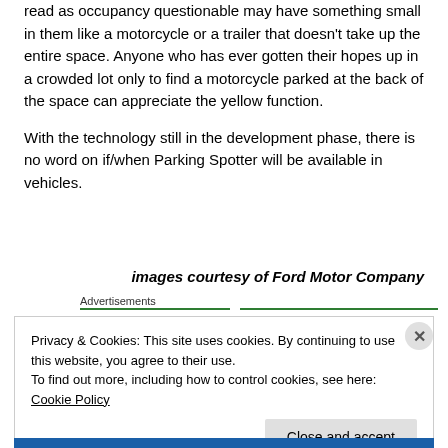read as occupancy questionable may have something small in them like a motorcycle or a trailer that doesn't take up the entire space. Anyone who has ever gotten their hopes up in a crowded lot only to find a motorcycle parked at the back of the space can appreciate the yellow function.
With the technology still in the development phase, there is no word on if/when Parking Spotter will be available in vehicles.
images courtesy of Ford Motor Company
Advertisements
Privacy & Cookies: This site uses cookies. By continuing to use this website, you agree to their use.
To find out more, including how to control cookies, see here: Cookie Policy